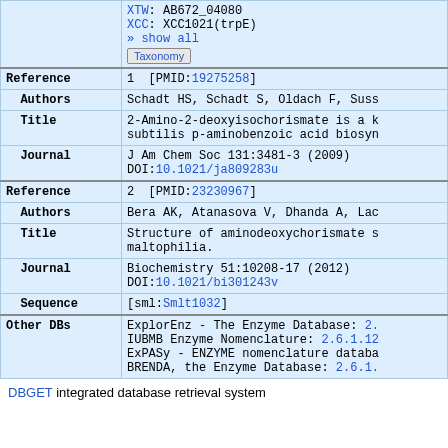| Field | Content |
| --- | --- |
|  | XTW: AB672_04080
XCC: XCC1021(trpE)
» show all
Taxonomy |
| Reference | 1  [PMID:19275258] |
| Authors | Schadt HS, Schadt S, Oldach F, Suss... |
| Title | 2-Amino-2-deoxyisochorismate is a k... subtilis p-aminobenzoic acid biosyn... |
| Journal | J Am Chem Soc 131:3481-3 (2009)
DOI:10.1021/ja809283u |
| Reference | 2  [PMID:23230967] |
| Authors | Bera AK, Atanasova V, Dhanda A, Lac... |
| Title | Structure of aminodeoxychorismate s... maltophilia. |
| Journal | Biochemistry 51:10208-17 (2012)
DOI:10.1021/bi301243v |
| Sequence | [sml:Smlt1032] |
| Other DBs | ExplorEnz - The Enzyme Database: 2....
IUBMB Enzyme Nomenclature: 2.6.1.12...
ExPASy - ENZYME nomenclature databa...
BRENDA, the Enzyme Database: 2.6.1... |
DBGET integrated database retrieval system